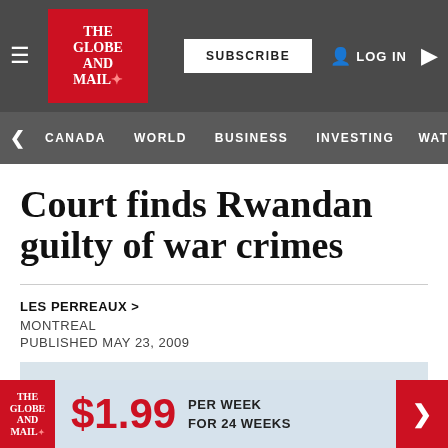The Globe and Mail — SUBSCRIBE | LOG IN
CANADA | WORLD | BUSINESS | INVESTING | WATC
Court finds Rwandan guilty of war crimes
LES PERREAUX >
MONTREAL
PUBLISHED MAY 23, 2009
This article was published more than 13 years ago. Some information may no longer be current.
The Globe and Mail — $1.99 PER WEEK FOR 24 WEEKS